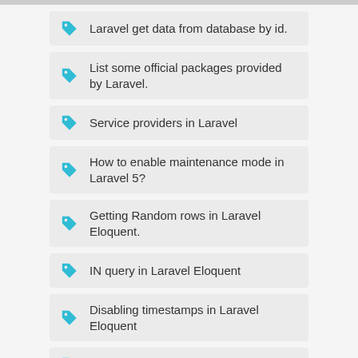Laravel get data from database by id.
List some official packages provided by Laravel.
Service providers in Laravel
How to enable maintenance mode in Laravel 5?
Getting Random rows in Laravel Eloquent.
IN query in Laravel Eloquent
Disabling timestamps in Laravel Eloquent
Explain migrations in Laravel? How can you generate migration.
Read and Write Cookie in Laravel 5
Adding Multiple Order By clause in Laravel